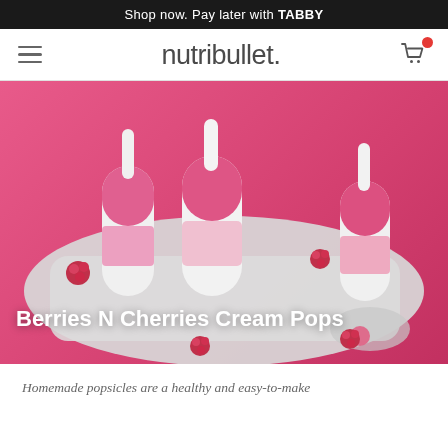Shop now. Pay later with TABBY
[Figure (logo): nutribullet logo with hamburger menu and cart icon]
[Figure (photo): Three pink and white cream popsicles on a decorative white tray with raspberries on a bright pink background]
Berries N Cherries Cream Pops
Homemade popsicles are a healthy and easy-to-make